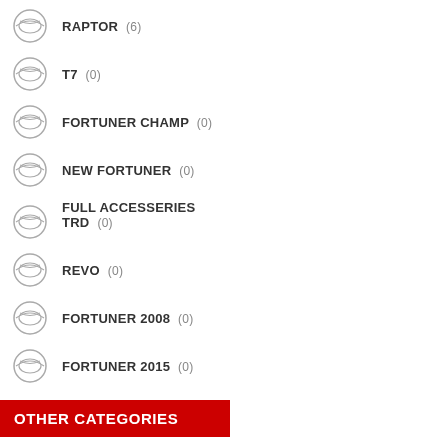RAPTOR (6)
T7 (0)
FORTUNER CHAMP (0)
NEW FORTUNER (0)
FULL ACCESSERIES TRD (0)
REVO (0)
FORTUNER 2008 (0)
FORTUNER 2015 (0)
OTHER CATEGORIES
PETROL (34)
DIESEL (209)